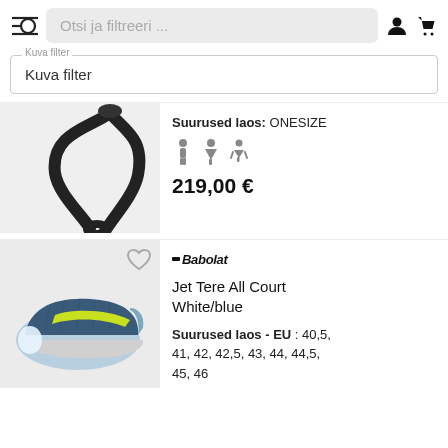Otsi ja filtreeri ...
Kuva filter
[Figure (photo): Product image showing black straps/lanyard accessory on light gray background]
Suurused laos: ONESIZE
219,00 €
[Figure (photo): Babolat Jet Tere All Court White/blue tennis shoe on light gray background]
Babolat
Jet Tere All Court White/blue
Suurused laos - EU : 40,5, 41, 42, 42,5, 43, 44, 44,5, 45, 46